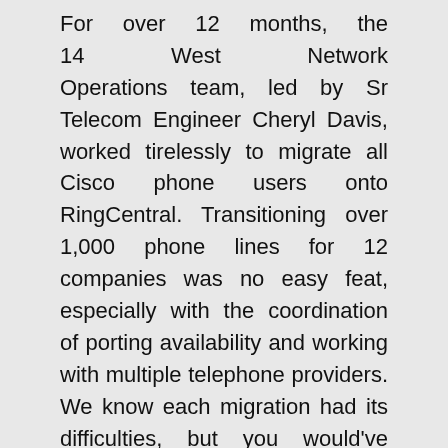For over 12 months, the 14 West Network Operations team, led by Sr Telecom Engineer Cheryl Davis, worked tirelessly to migrate all Cisco phone users onto RingCentral. Transitioning over 1,000 phone lines for 12 companies was no easy feat, especially with the coordination of porting availability and working with multiple telephone providers. We know each migration had its difficulties, but you would've never known from the spirit of the teams involved.

If you have any questions